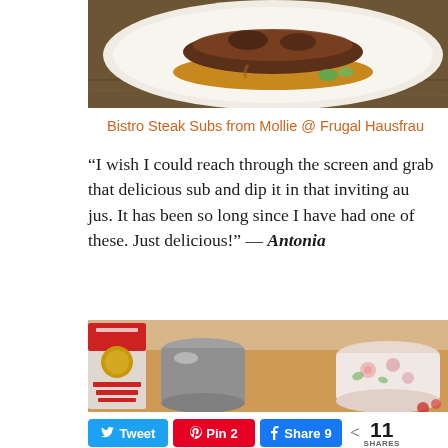[Figure (photo): Photo of a bistro steak sub sandwich on a white oval plate on a dark wood surface, with garnish of fresh herbs]
Bistro Steak Subs from Mollie @ Frugal Hausfrau
“I wish I could reach through the screen and grab that delicious sub and dip it in that inviting au jus. It has been so long since I have had one of these. Just delicious!” — Antonia
[Figure (photo): Photo of Korean hot pepper paste packaging, a stainless steel pot, and a floral bowl on a wooden cutting board]
Tweet  Pin 2  Share 9  < 11 SHARES